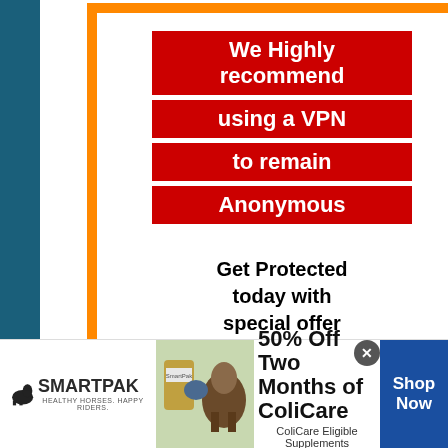[Figure (infographic): VPN advertisement banner with orange outer border and white inner panel. Red highlight boxes with white bold text reading 'We Highly recommend using a VPN to remain Anonymous'. Below in black bold text: 'Get Protected today with special offer'. Yellow button with bold black text: 'GET 70% OFF NOW'.]
[Figure (infographic): SmartPak bottom banner advertisement. Left: SmartPak logo with horse silhouette. Center: product image (supplement container and horse with rider). Text: '50% Off Two Months of ColiCare', 'ColiCare Eligible Supplements', 'CODE: COLICARE10'. Right: blue 'Shop Now' button. Top-right close X button.]